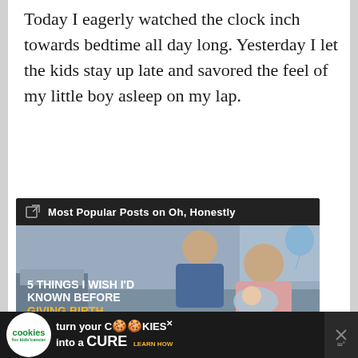Today I eagerly watched the clock inch towards bedtime all day long. Yesterday I let the kids stay up late and savored the feel of my little boy asleep on my lap.
[Figure (screenshot): Widget showing 'Most Popular Posts on Oh, Honestly' with an image overlay reading '5 THINGS I WISH I'D KNOWN BEFORE GIVING BIRTH' over a photo of a couple with a newborn in a hospital room.]
[Figure (infographic): Advertisement banner: 'cookies for kids cancer — turn your COOKIES into a CURE LEARN HOW' on a dark background with a close button.]